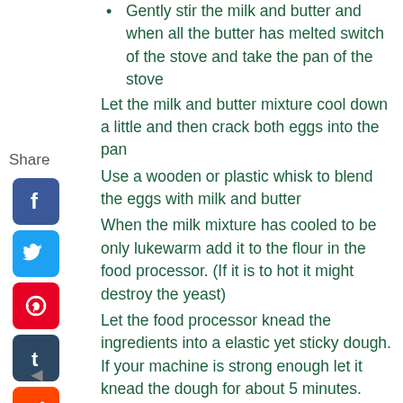Gently stir the milk and butter and when all the butter has melted switch of the stove and take the pan of the stove
Let the milk and butter mixture cool down a little and then crack both eggs into the pan
Use a wooden or plastic whisk to blend the eggs with milk and butter
When the milk mixture has cooled to be only lukewarm add it to the flour in the food processor. (If it is to hot it might destroy the yeast)
Let the food processor knead the ingredients into a elastic yet sticky dough. If your machine is strong enough let it knead the dough for about 5 minutes. Alternatively you will have to finish the job with your hands